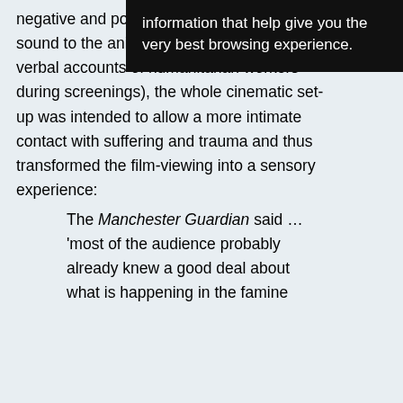[Figure (screenshot): Black tooltip/popup overlay showing text: 'information that help give you the very best browsing experience.']
negative and positive emotions. Adding sound to the animated picture (piano music, verbal accounts of humanitarian workers during screenings), the whole cinematic set-up was intended to allow a more intimate contact with suffering and trauma and thus transformed the film-viewing into a sensory experience:
The Manchester Guardian said … 'most of the audience probably already knew a good deal about what is happening in the famine